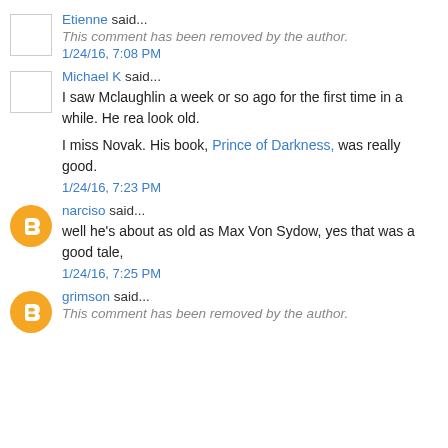Etienne said...
This comment has been removed by the author.
1/24/16, 7:08 PM
Michael K said...
I saw Mclaughlin a week or so ago for the first time in a while. He rea look old.

I miss Novak. His book, Prince of Darkness, was really good.
1/24/16, 7:23 PM
narciso said...
well he's about as old as Max Von Sydow, yes that was a good tale,
1/24/16, 7:25 PM
grimson said...
This comment has been removed by the author.